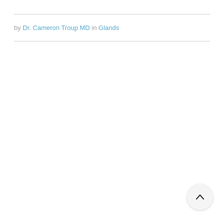by Dr. Cameron Troup MD in Glands